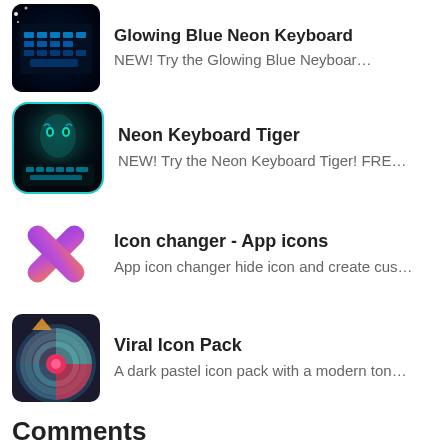[Figure (screenshot): Glowing Blue Neon Keyboard app icon — dark keyboard with blue neon glow]
Glowing Blue Neon Keyboard
NEW! Try the Glowing Blue Neyboar…
[Figure (screenshot): Neon Keyboard Tiger app icon — teal neon tiger on dark keyboard]
Neon Keyboard Tiger
NEW! Try the Neon Keyboard Tiger! FRE…
[Figure (illustration): Icon changer app icon — purple and pink/coral X shape]
Icon changer - App icons
App icon changer hide icon and create cus…
[Figure (illustration): Viral Icon Pack app icon — dark background with colorful spiral/disc icon]
Viral Icon Pack
A dark pastel icon pack with a modern ton…
Comments